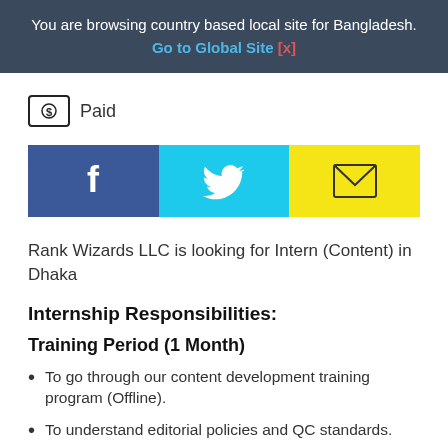You are browsing country based local site for Bangladesh. Go to Global Site [x]
Paid
[Figure (infographic): Social sharing buttons: Facebook (blue), Twitter (cyan), Email (yellow)]
Rank Wizards LLC is looking for Intern (Content) in Dhaka
Internship Responsibilities:
Training Period (1 Month)
To go through our content development training program (Offline).
To understand editorial policies and QC standards.
To learn team architecture and work culture.